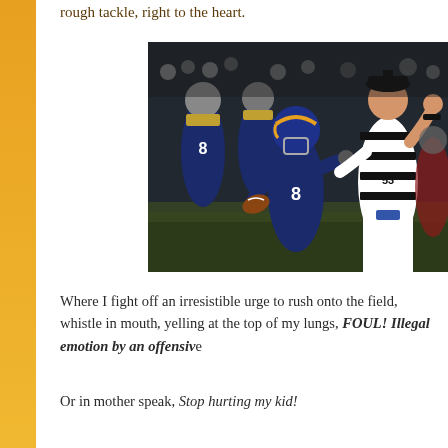rough tackle, right to the heart.
[Figure (photo): NFL football game scene: a St. Louis Rams player in blue and gold uniform holding a football, being approached by a referee in black and white striped uniform, with other players visible in the background]
Where I fight off an irresistible urge to rush onto the field, whistle in mouth, yelling at the top of my lungs, FOUL! Illegal emotion by an offensive...
Or in mother speak, Stop hurting my kid!